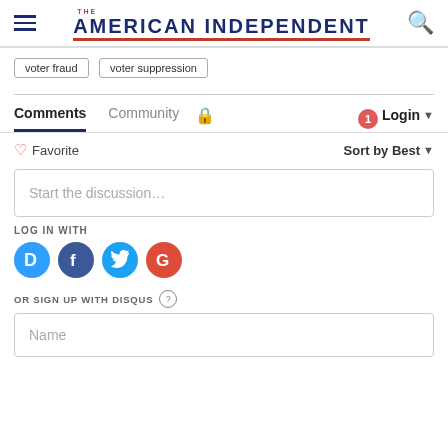THE AMERICAN INDEPENDENT
voter fraud
voter suppression
Comments  Community  Login
Favorite  Sort by Best
Start the discussion...
LOG IN WITH
OR SIGN UP WITH DISQUS
Name